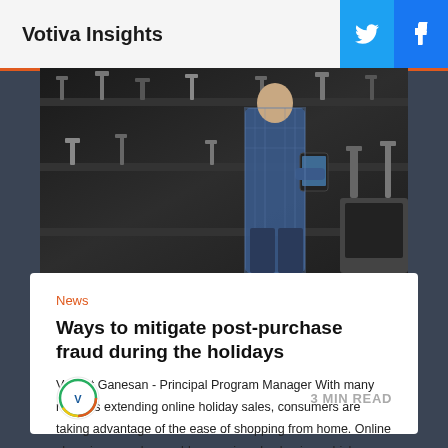Votiva Insights
[Figure (photo): Person in plaid shirt standing in a store with shelves of faucets and hardware, holding a tablet]
News
Ways to mitigate post-purchase fraud during the holidays
Venkat Ganesan - Principal Program Manager With many retailers extending online holiday sales, consumers are taking advantage of the ease of shopping from home. Online shopping can also enable more impulse buying, which
3 MIN READ